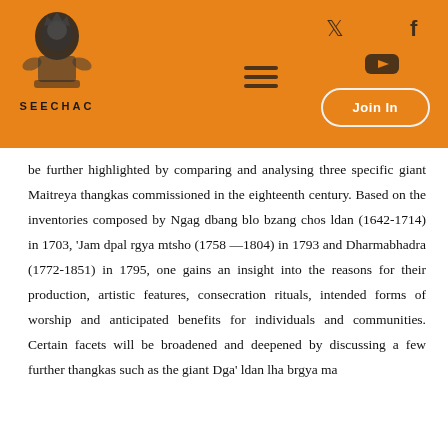SEECHAC — navigation header with logo, hamburger menu, social icons (Twitter, YouTube, Facebook), and Join In button
be further highlighted by comparing and analysing three specific giant Maitreya thangkas commissioned in the eighteenth century. Based on the inventories composed by Ngag dbang blo bzang chos ldan (1642-1714) in 1703, 'Jam dpal rgya mtsho (1758 —1804) in 1793 and Dharmabhadra (1772-1851) in 1795, one gains an insight into the reasons for their production, artistic features, consecration rituals, intended forms of worship and anticipated benefits for individuals and communities. Certain facets will be broadened and deepened by discussing a few further thangkas such as the giant Dga' ldan lha brgya ma